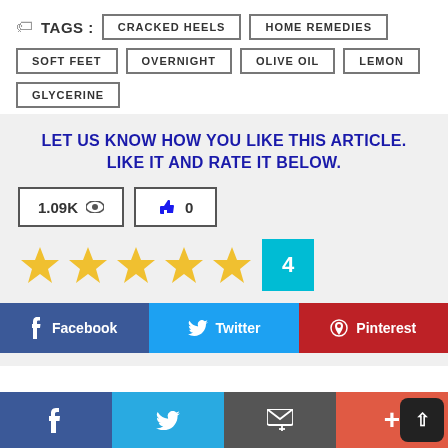TAGS : CRACKED HEELS  HOME REMEDIES  SOFT FEET  OVERNIGHT  OLIVE OIL  LEMON  GLYCERINE
LET US KNOW HOW YOU LIKE THIS ARTICLE. LIKE IT AND RATE IT BELOW.
1.09K  👁  0 👍
[Figure (other): 5 gold star rating with count badge showing 4]
Facebook  Twitter  Pinterest
Facebook  Twitter  Email  More  Back to top